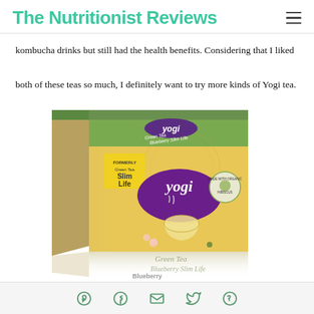The Nutritionist Reviews
kombucha drinks but still had the health benefits. Considering that I liked both of these teas so much, I definitely want to try more kinds of Yogi tea.
[Figure (photo): Yogi brand Green Tea Blueberry Slim Life tea box. The box is yellow and green with a purple Yogi logo. A label on the front reads 'FORMERLY Green Tea Slim Life'. The box shows a cup of tea with flowers and blueberries. The reflection of the box is visible below it. Text reads 'Green Tea Blueberry Slim Life' on the reflection area.]
Social share icons: Pinterest, Facebook, Email, Twitter, WhatsApp